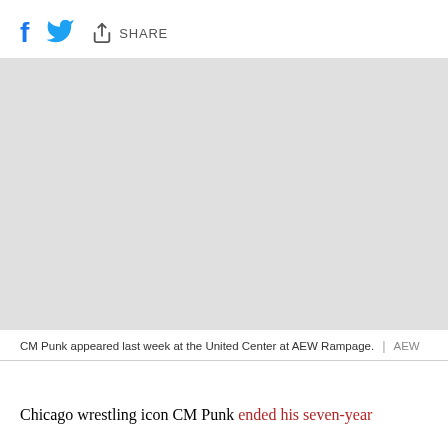f [twitter] [share] SHARE
[Figure (photo): Empty/placeholder image area representing a photo of CM Punk at United Center AEW Rampage]
CM Punk appeared last week at the United Center at AEW Rampage.  |  AEW
Chicago wrestling icon CM Punk ended his seven-year